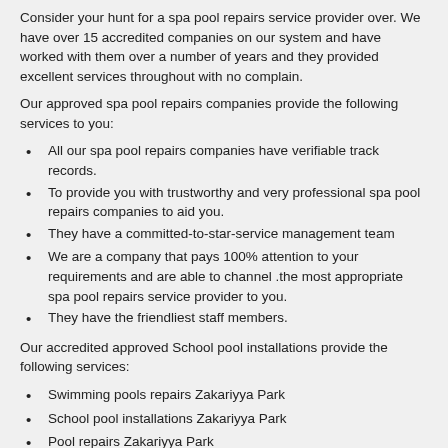Consider your hunt for a spa pool repairs service provider over. We have over 15 accredited companies on our system and have worked with them over a number of years and they provided excellent services throughout with no complain.
Our approved spa pool repairs companies provide the following services to you:
All our spa pool repairs companies have verifiable track records.
To provide you with trustworthy and very professional spa pool repairs companies to aid you.
They have a committed-to-star-service management team
We are a company that pays 100% attention to your requirements and are able to channel .the most appropriate spa pool repairs service provider to you.
They have the friendliest staff members.
Our accredited approved School pool installations provide the following services:
Swimming pools repairs Zakariyya Park
School pool installations Zakariyya Park
Pool repairs Zakariyya Park
Pool pumps installer Zakariyya Park
Pool heating installations Zakariyya Park
Pool pumps Zakariyya Park
Koi pond repairs Zakariyya Park
School pool repairs Zakariyya Park